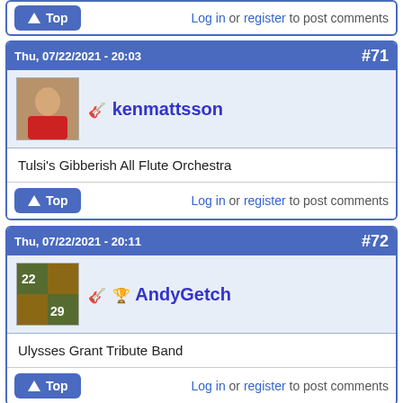Log in or register to post comments
Thu, 07/22/2021 - 20:03  #71
kenmattsson
Tulsi's Gibberish All Flute Orchestra
Log in or register to post comments
Thu, 07/22/2021 - 20:11  #72
AndyGetch
Ulysses Grant Tribute Band
Log in or register to post comments
Thu, 07/22/2021 - 21:11  #73
Stephen Wordsmith